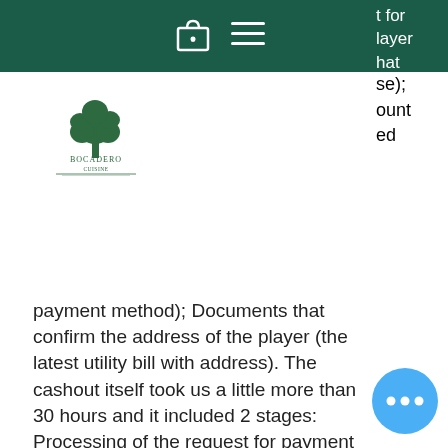t for player hat se); ount ed
[Figure (logo): Bocadero logo with tree graphic and text]
payment method); Documents that confirm the address of the player (the latest utility bill with address). The cashout itself took us a little more than 30 hours and it included 2 stages: Processing of the request for payment that lasts up to 48 hours. Direct transfer of money, do gambling winnings affect housing benefit. The sport useful resource provides high quality and thrilling vacation, do gambling winnings affect housing benefit. Slots Capital PayPal casino loves pampering its players with unique bonuses and promotions, get up stand up poker. But make no mistake – the non-stop action is